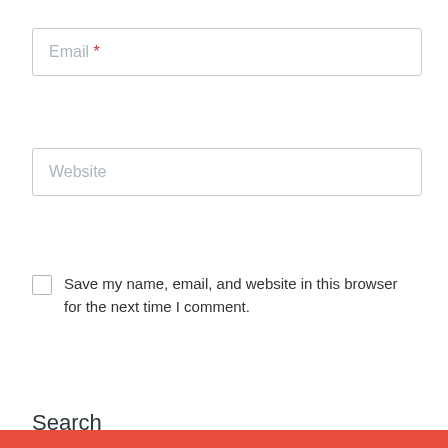Email *
Website
Save my name, email, and website in this browser for the next time I comment.
Post Comment
Search
Search